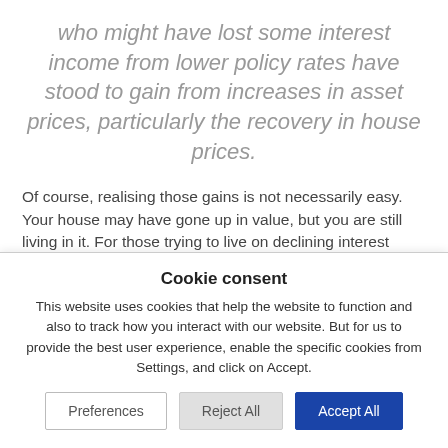who might have lost some interest income from lower policy rates have stood to gain from increases in asset prices, particularly the recovery in house prices.
Of course, realising those gains is not necessarily easy. Your house may have gone up in value, but you are still living in it. For those trying to live on declining interest income from
Cookie consent
This website uses cookies that help the website to function and also to track how you interact with our website. But for us to provide the best user experience, enable the specific cookies from Settings, and click on Accept.